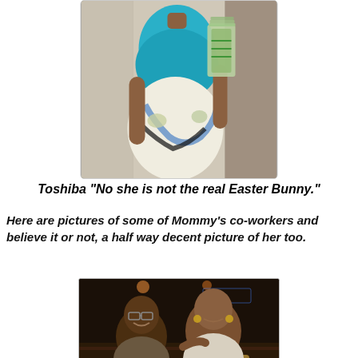[Figure (photo): A person wearing a teal/blue top and a white floral skirt, holding what appears to be dollar bills, standing in an office or indoor setting.]
Toshiba "No she is not the real Easter Bunny."
Here are pictures of some of Mommy's co-workers and believe it or not, a half way decent picture of her too.
[Figure (photo): Two women sitting together smiling at a bar or restaurant, with dim lighting and a neon sign visible in the background.]